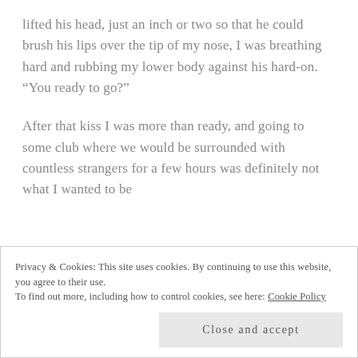lifted his head, just an inch or two so that he could brush his lips over the tip of my nose, I was breathing hard and rubbing my lower body against his hard-on. “You ready to go?”
After that kiss I was more than ready, and going to some club where we would be surrounded with countless strangers for a few hours was definitely not what I wanted to be
Privacy & Cookies: This site uses cookies. By continuing to use this website, you agree to their use.
To find out more, including how to control cookies, see here: Cookie Policy